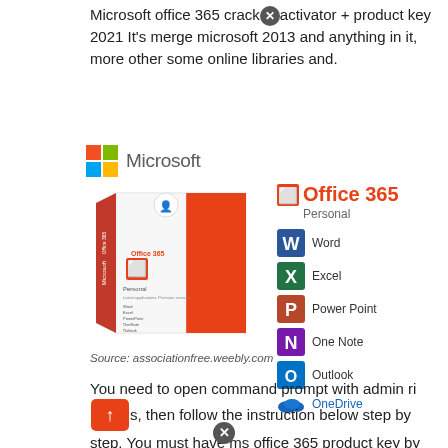Microsoft office 365 crack [x] activator + product key 2021 It's merge microsoft 2013 and anything in it, more other some online libraries and.
[Figure (photo): Microsoft Office 365 Personal product box and branding showing Word, Excel, PowerPoint, OneNote, Outlook, and OneDrive app icons, with Microsoft logo above.]
Source: associationfree.weebly.com
You need to open command prompt with admin rights, then follow the instruction below step by step. You must have ms office 365 product key by microsoft.